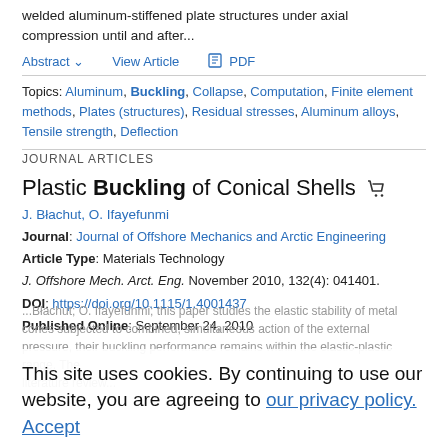welded aluminum-stiffened plate structures under axial compression until and after...
Abstract ∨   View Article   PDF
Topics: Aluminum, Buckling, Collapse, Computation, Finite element methods, Plates (structures), Residual stresses, Aluminum alloys, Tensile strength, Deflection
JOURNAL ARTICLES
Plastic Buckling of Conical Shells
J. Błachut, O. Ifayefunmi
Journal: Journal of Offshore Mechanics and Arctic Engineering
Article Type: Materials Technology
J. Offshore Mech. Arct. Eng. November 2010, 132(4): 041401.
DOI: https://doi.org/10.1115/1.4001437
Published Online: September 24, 2010
This site uses cookies. By continuing to use our website, you are agreeing to our privacy policy. Accept